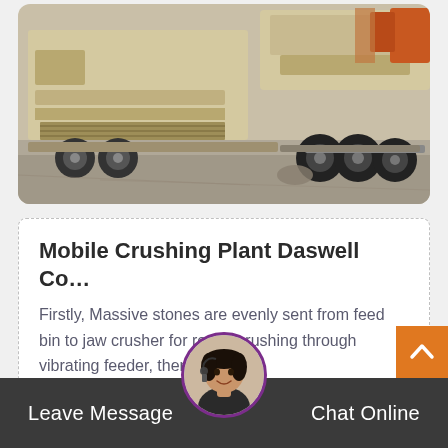[Figure (photo): A large mobile crushing plant/machine on wheels, painted beige/cream color, photographed at an industrial site on a concrete surface. Multiple conveyor belts and mechanical components are visible.]
Mobile Crushing Plant Daswell Co…
Firstly, Massive stones are evenly sent from feed bin to jaw crusher for rough crushing through vibrating feeder, then to cone…
Leave Message   Chat Online